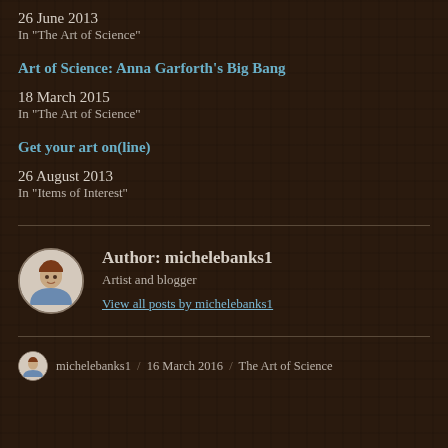26 June 2013
In "The Art of Science"
Art of Science: Anna Garforth’s Big Bang
18 March 2015
In "The Art of Science"
Get your art on(line)
26 August 2013
In "Items of Interest"
Author: michelebanks1
Artist and blogger
View all posts by michelebanks1
michelebanks1 / 16 March 2016 / The Art of Science